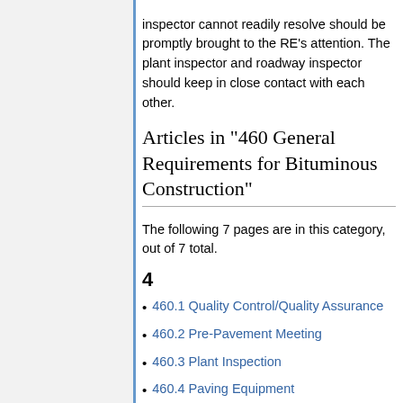(...) Any misunderstandings that the inspector cannot readily resolve should be promptly brought to the RE's attention. The plant inspector and roadway inspector should keep in close contact with each other.
Articles in "460 General Requirements for Bituminous Construction"
The following 7 pages are in this category, out of 7 total.
4
460.1 Quality Control/Quality Assurance
460.2 Pre-Pavement Meeting
460.3 Plant Inspection
460.4 Paving Equipment
460.5 Roadway Inspection